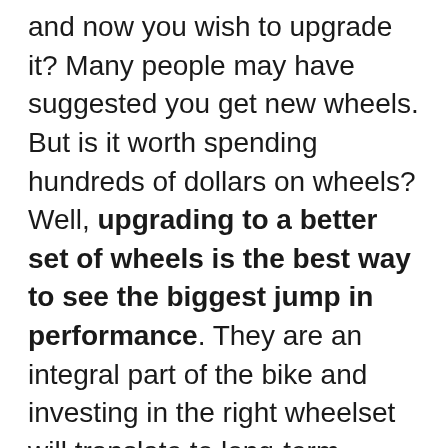and now you wish to upgrade it? Many people may have suggested you get new wheels. But is it worth spending hundreds of dollars on wheels? Well, upgrading to a better set of wheels is the best way to see the biggest jump in performance. They are an integral part of the bike and investing in the right wheelset will translate to long-term benefits. In this article, we will describe all the advantages that you can get from a better pair of wheels for your road bike.